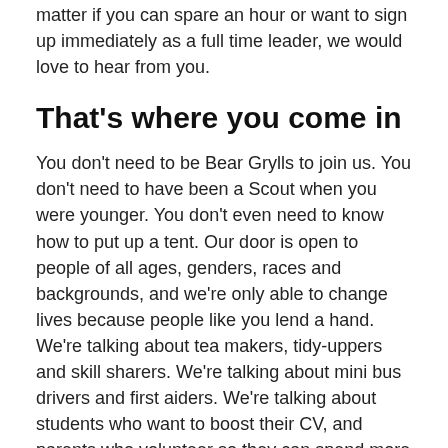matter if you can spare an hour or want to sign up immediately as a full time leader, we would love to hear from you.
That’s where you come in
You don’t need to be Bear Grylls to join us. You don’t need to have been a Scout when you were younger. You don’t even need to know how to put up a tent. Our door is open to people of all ages, genders, races and backgrounds, and we’re only able to change lives because people like you lend a hand. We’re talking about tea makers, tidy-uppers and skill sharers. We’re talking about mini bus drivers and first aiders. We’re talking about students who want to boost their CV, and parents who volunteer so they can spend more time together as a family.
Whatever your skillset, lend a hand for as little or as much time as you can spare, and we promise you’ll get more out